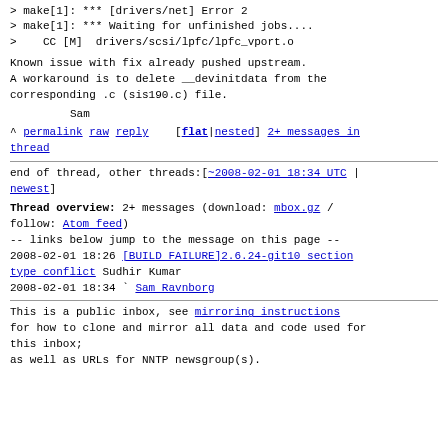> make[1]: *** [drivers/net] Error 2
> make[1]: *** Waiting for unfinished jobs....
>    CC [M]  drivers/scsi/lpfc/lpfc_vport.o
Known issue with fix already pushed upstream.
A workaround is to delete __devinitdata from the
corresponding .c (sis190.c) file.
Sam
^ permalink raw reply    [flat|nested] 2+ messages in thread
end of thread, other threads:[~2008-02-01 18:34 UTC | newest]
Thread overview: 2+ messages (download: mbox.gz / follow: Atom feed)
-- links below jump to the message on this page --
2008-02-01 18:26 [BUILD FAILURE]2.6.24-git10 section type conflict Sudhir Kumar
2008-02-01 18:34 ` Sam Ravnborg
This is a public inbox, see mirroring instructions
for how to clone and mirror all data and code used for
this inbox;
as well as URLs for NNTP newsgroup(s).